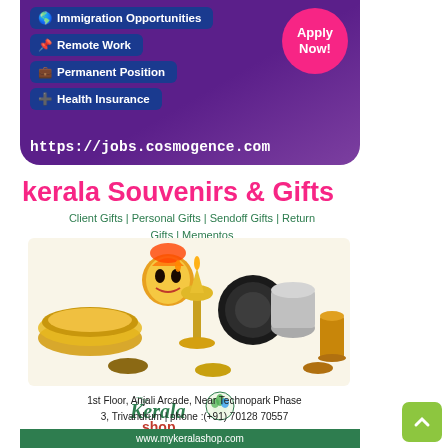[Figure (infographic): Job advertisement banner with purple background showing Immigration Opportunities, Remote Work, Permanent Position, Health Insurance pills, Apply Now bubble, and URL https://jobs.cosmogence.com]
kerala Souvenirs & Gifts
Client Gifts | Personal Gifts | Sendoff Gifts | Return Gifts | Mementos
[Figure (photo): Kerala traditional brass and metal souvenirs, decorative items including Kathakali face, brass lamps, plates, and crafts]
[Figure (logo): The Kerala Shop logo with green and red branding]
1st Floor, Anjali Arcade, Near Technopark Phase 3, Trivandrum | phone :(+91) 70128 70557
www.mykeralashop.com